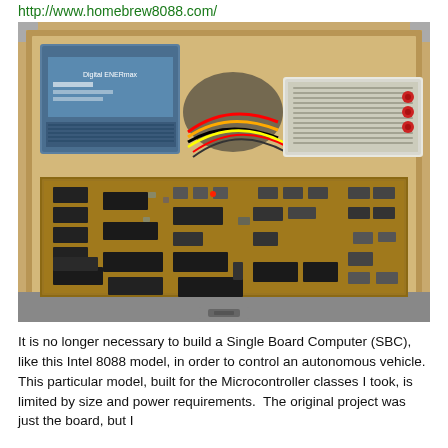http://www.homebrew8088.com/
[Figure (photo): A homebrew Intel 8088 Single Board Computer (SBC) built inside a wooden suitcase/box. The open box reveals a circuit board populated with numerous ICs, chips, and electronic components mounted on a perfboard. In the upper-left is a blue ATX power supply. In the upper-right is a breadboard area with binding posts (red and black). Various wiring, capacitors, resistors, and DIP ICs are visible on the main board. The wooden case has metal corner hardware.]
It is no longer necessary to build a Single Board Computer (SBC), like this Intel 8088 model, in order to control an autonomous vehicle.  This particular model, built for the Microcontroller classes I took, is limited by size and power requirements.  The original project was just the board, but I